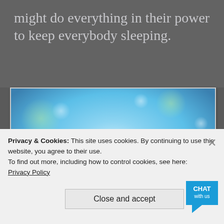might do everything in their power to keep everybody sleeping.
[Figure (photo): Two cupped hands glowing with bright white light against a blue and green bokeh background, suggesting spiritual or healing energy.]
Privacy & Cookies: This site uses cookies. By continuing to use this website, you agree to their use.
To find out more, including how to control cookies, see here:
Privacy Policy
Close and accept